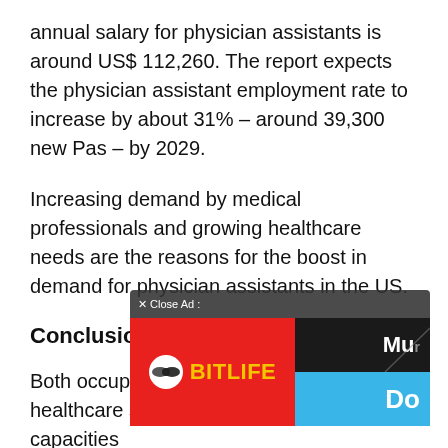annual salary for physician assistants is around US$ 112,260. The report expects the physician assistant employment rate to increase by about 31% – around 39,300 new Pas – by 2029.
Increasing demand by medical professionals and growing healthcare needs are the reasons for the boost in demand for physician assistants in the US.
Conclusion
Both occupations are essential for the healthcare system although are varying capacities
[Figure (other): Advertisement overlay: BitLife app ad with red background and logo on left, dark section with 'Mu' text on upper right, blue section with 'Do' text on lower right. Close Ad button shown at top.]